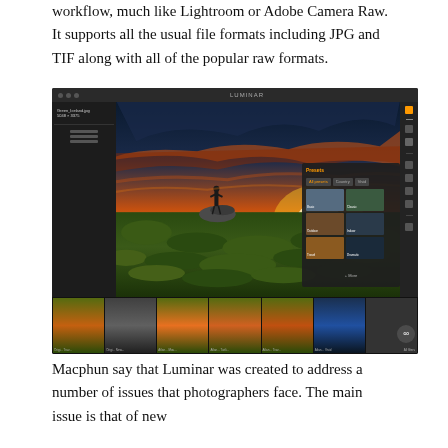workflow, much like Lightroom or Adobe Camera Raw. It supports all the usual file formats including JPG and TIF along with all of the popular raw formats.
[Figure (screenshot): Screenshot of Luminar photo editing software showing a dramatic landscape photo of a person standing on mossy rocks at sunset in Iceland. The interface shows the main image editor, a presets panel with thumbnail previews (Basic, Classic, Outdoor, Indoor, Travel, Dramatic categories), a right toolbar, and a filmstrip of variant images at the bottom.]
Macphun say that Luminar was created to address a number of issues that photographers face. The main issue is that of new